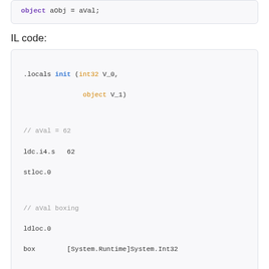[Figure (screenshot): Code snippet showing: object aObj = aVal;]
IL code:
[Figure (screenshot): IL code block showing .locals init with int32 V_0 and object V_1, then ldc.i4.s 62, stloc.0, ldloc.0, box [System.Runtime]System.Int32, stloc.1 with comments about aVal = 62, aVal boxing, and saving the received reference in aObj]